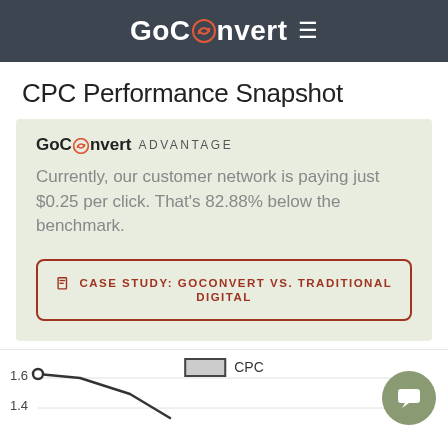GoConvert
CPC Performance Snapshot
GoConvert ADVANTAGE
Currently, our customer network is paying just $0.25 per click. That's 82.88% below the benchmark.
CASE STUDY: GOCONVERT VS. TRADITIONAL DIGITAL
[Figure (line-chart): Partial line chart visible at bottom of page showing CPC data with y-axis values 1.6 and 1.4, legend showing CPC with gray rectangle]